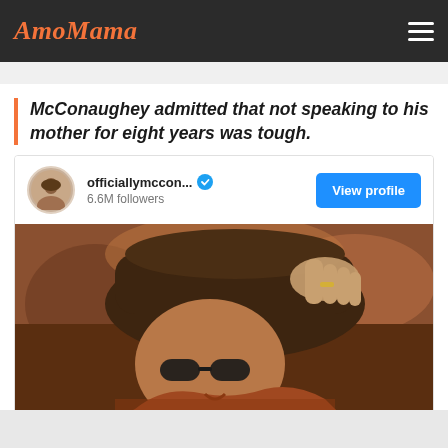AmoMama
McConaughey admitted that not speaking to his mother for eight years was tough.
[Figure (screenshot): Instagram embed showing officiallymccon... profile with 6.6M followers, View profile button, and a photo of Matthew McConaughey in a brown cowboy hat and leather jacket with sunglasses]